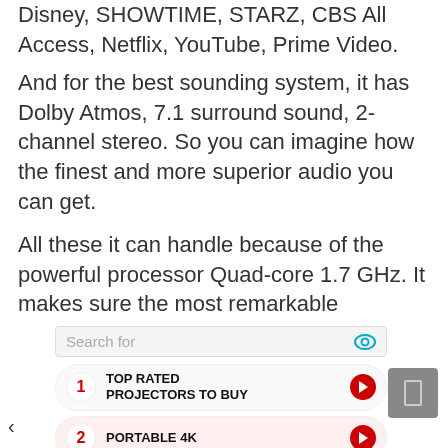Disney, SHOWTIME, STARZ, CBS All Access, Netflix, YouTube, Prime Video.
And for the best sounding system, it has Dolby Atmos, 7.1 surround sound, 2-channel stereo. So you can imagine how the finest and more superior audio you can get.
All these it can handle because of the powerful processor Quad-core 1.7 GHz. It makes sure the most remarkable performance without and distortion. Also, the GPU has a version of IMG GE8300 and a storage capability of 8GB.
[Figure (screenshot): Search widget showing 'Search for' label with eye icon, listing '1 TOP RATED PROJECTORS TO BUY' with red arrow, and '2 PORTABLE 4K' partially visible. Gray button on right side. Partial chevron on bottom left.]